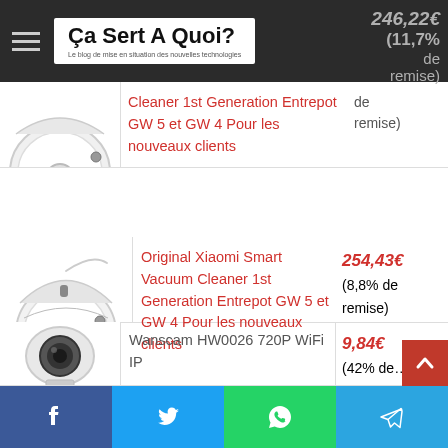Ça Sert A Quoi? — Le blog de mise en situation des nouvelles technologies
[Figure (photo): White Xiaomi robot vacuum cleaner 1st generation, top view, partially visible]
Cleaner 1st Generation Entrepot GW 5 et GW 4 Pour les nouveaux clients
246,22€ (11,7% de remise)
[Figure (photo): White Xiaomi robot vacuum cleaner 1st generation, slightly different angle]
Original Xiaomi Smart Vacuum Cleaner 1st Generation Entrepot GW 5 et GW 4 Pour les nouveaux clients
254,43€ (8,8% de remise)
[Figure (photo): Wanscam HW0026 720P WiFi IP camera, white, partially visible]
Wanscam HW0026 720P WiFi IP
9,84€ (42% de remise)